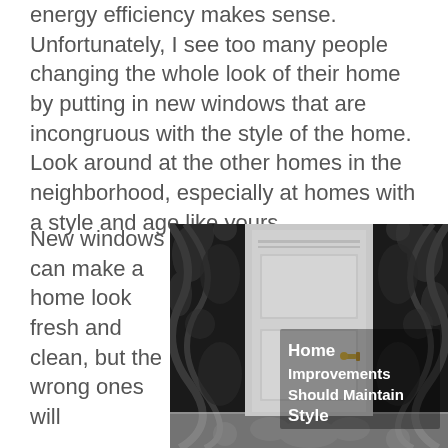energy efficiency makes sense. Unfortunately, I see too many people changing the whole look of their home by putting in new windows that are incongruous with the style of the home. Look around at the other homes in the neighborhood, especially at homes with a style and age like yours.
New windows can make a home look fresh and clean, but the wrong ones will
[Figure (photo): Photo of a white interior door against a dark ornate damask-patterned wallpaper. Text overlay reads 'Home Improvements Should Maintain Style' in bold white font.]